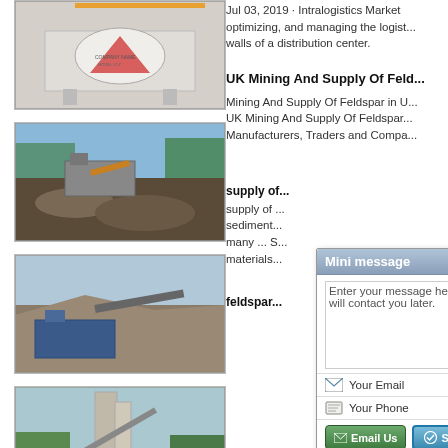[Figure (photo): Industrial cone crusher machine inside a factory/warehouse setting, white and red machinery]
Jul 03, 2019 · Intralogistics Market optimizing, and managing the logist walls of a distribution center.
[Figure (photo): Mining equipment and machinery at an open-pit mine site, dark rocks and gravel]
UK Mining And Supply Of Feld...
Mining And Supply Of Feldspar in U... UK Mining And Supply Of Feldspar... Manufacturers, Traders and Compa...
[Figure (photo): Large mining conveyor/crusher equipment at a mine site with gravel and rocky terrain]
supply of ...
supply of ... sediment... many ... S... materials...
[Figure (photo): Mining industrial facility with tall vertical structures, conveyor, and trees in background]
feldspar...
[Figure (screenshot): Mini message popup dialog with text area, Your Email field, Your Phone field, Email Us and Send buttons]